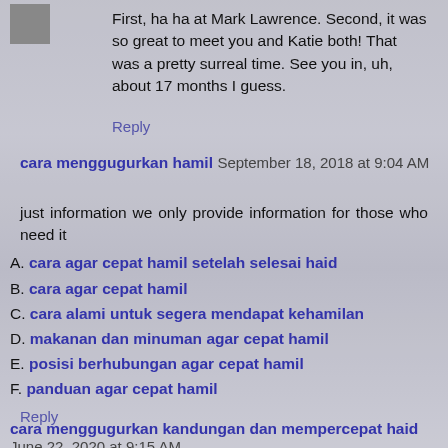First, ha ha at Mark Lawrence. Second, it was so great to meet you and Katie both! That was a pretty surreal time. See you in, uh, about 17 months I guess.
Reply
cara menggugurkan hamil   September 18, 2018 at 9:04 AM
just information we only provide information for those who need it
A. cara agar cepat hamil setelah selesai haid
B. cara agar cepat hamil
C. cara alami untuk segera mendapat kehamilan
D. makanan dan minuman agar cepat hamil
E. posisi berhubungan agar cepat hamil
F. panduan agar cepat hamil
Reply
cara menggugurkan kandungan dan mempercepat haid   June 22, 2020 at 9:15 AM